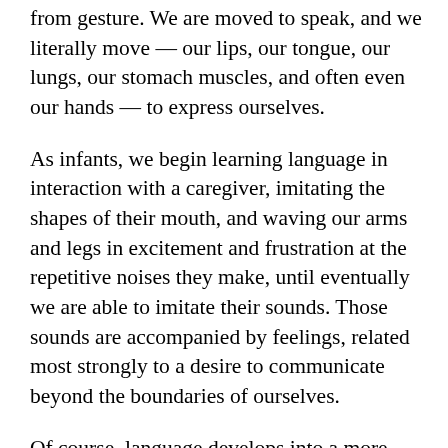from gesture. We are moved to speak, and we literally move — our lips, our tongue, our lungs, our stomach muscles, and often even our hands — to express ourselves.
As infants, we begin learning language in interaction with a caregiver, imitating the shapes of their mouth, and waving our arms and legs in excitement and frustration at the repetitive noises they make, until eventually we are able to imitate their sounds. Those sounds are accompanied by feelings, related most strongly to a desire to communicate beyond the boundaries of ourselves.
Of course, language develops into a more abstract system for communication. It can often remain a struggle, however, to give expression to feelings that are powerfully felt in the body, such as loneliness or